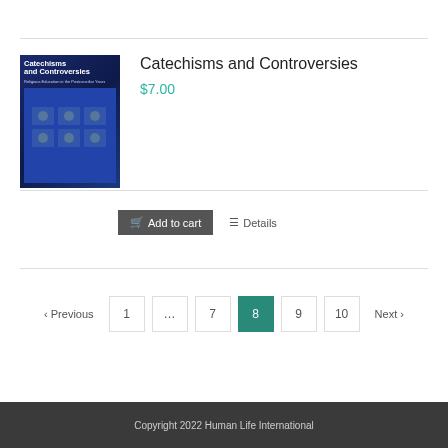[Figure (illustration): Book cover of 'Catechisms and Controversies: Religious Education in the Postconciliar Years' with dark blue background]
Catechisms and Controversies
$7.00
Add to cart   Details
‹ Previous  1  ...  7  8  9  10  Next ›
Copyright 2022 Human Life International